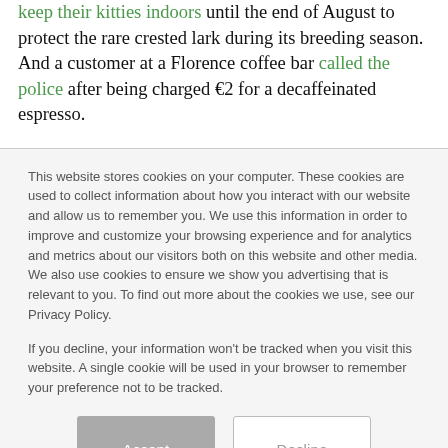keep their kitties indoors until the end of August to protect the rare crested lark during its breeding season. And a customer at a Florence coffee bar called the police after being charged €2 for a decaffeinated espresso.
This website stores cookies on your computer. These cookies are used to collect information about how you interact with our website and allow us to remember you. We use this information in order to improve and customize your browsing experience and for analytics and metrics about our visitors both on this website and other media. We also use cookies to ensure we show you advertising that is relevant to you. To find out more about the cookies we use, see our Privacy Policy.

If you decline, your information won't be tracked when you visit this website. A single cookie will be used in your browser to remember your preference not to be tracked.